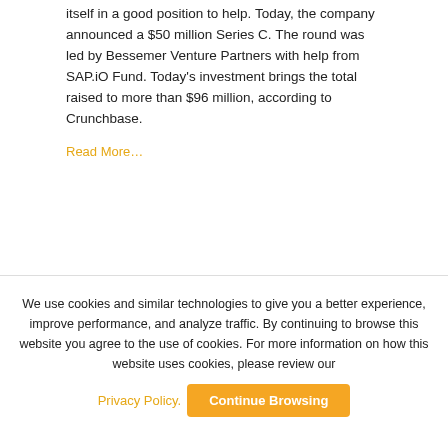itself in a good position to help. Today, the company announced a $50 million Series C. The round was led by Bessemer Venture Partners with help from SAP.iO Fund. Today's investment brings the total raised to more than $96 million, according to Crunchbase.
Read More…
We use cookies and similar technologies to give you a better experience, improve performance, and analyze traffic. By continuing to browse this website you agree to the use of cookies. For more information on how this website uses cookies, please review our
Privacy Policy.  Continue Browsing